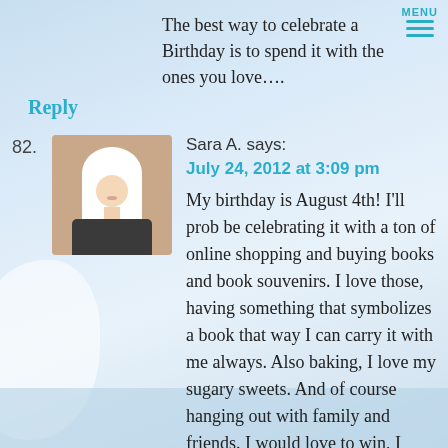The best way to celebrate a Birthday is to spend it with the ones you love....
Reply
82.
[Figure (photo): Avatar photo of Sara A., a woman wearing a white hijab]
Sara A. says:
July 24, 2012 at 3:09 pm
My birthday is August 4th! I'll prob be celebrating it with a ton of online shopping and buying books and book souvenirs. I love those, having something that symbolizes a book that way I can carry it with me always. Also baking, I love my sugary sweets. And of course hanging out with family and friends. I would love to win, I work at a library and I love it because we get to read stuff most people havent heard about yet. Its amazing really to